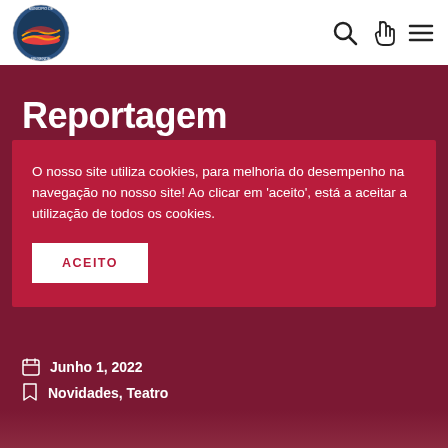[Figure (logo): Município de Resende circular shield logo with red/yellow/green colors and text around circumference]
[Figure (illustration): Search icon (magnifying glass)]
[Figure (illustration): Pointer/hand cursor icon]
[Figure (illustration): Hamburger menu icon (three horizontal lines)]
Reportagem
O nosso site utiliza cookies, para melhoria do desempenho na navegação no nosso site! Ao clicar em 'aceito', está a aceitar a utilização de todos os cookies.
ACEITO
Junho 1, 2022
Novidades, Teatro